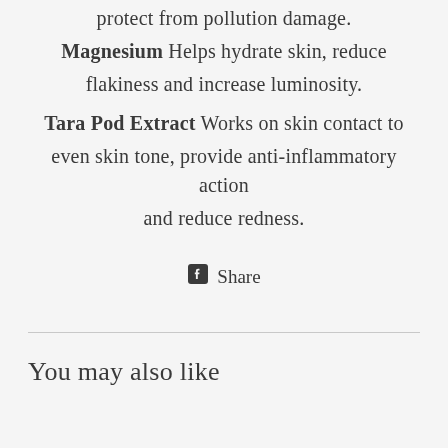protect from pollution damage. Magnesium Helps hydrate skin, reduce flakiness and increase luminosity. Tara Pod Extract Works on skin contact to even skin tone, provide anti-inflammatory action and reduce redness.
Share
You may also like